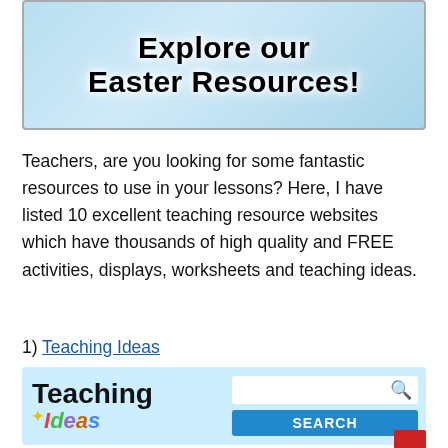[Figure (illustration): Banner image with light blue background and bold text reading 'Explore our Easter Resources!']
Teachers, are you looking for some fantastic resources to use in your lessons?  Here, I have listed 10 excellent teaching resource websites which have thousands of high quality and FREE activities, displays, worksheets and teaching ideas.
1) Teaching Ideas
[Figure (screenshot): Teaching Ideas website screenshot showing the logo 'Teaching Ideas' with colorful letters and a search bar with a SEARCH button on a light blue background.]